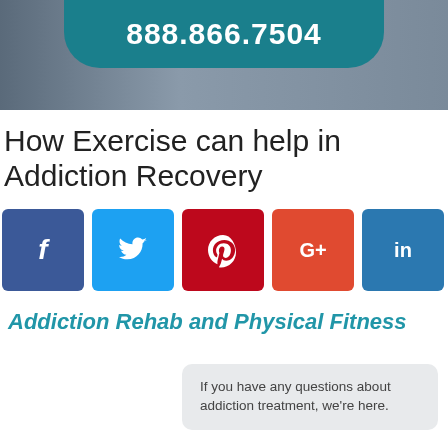[Figure (photo): Banner image with a teal rounded bar containing phone number 888.866.7504 over a dark photo background]
How Exercise can help in Addiction Recovery
[Figure (infographic): Social sharing buttons: Facebook (f), Twitter (bird), Pinterest (p), Google+ (G+), LinkedIn (in)]
Addiction Rehab and Physical Fitness
If you have any questions about addiction treatment, we're here.